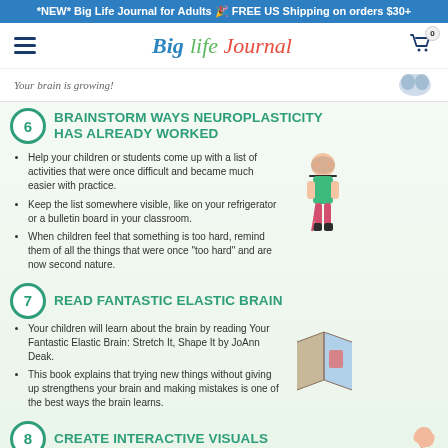*NEW* Big Life Journal for Adults 🎉 FREE US Shipping on orders $30+
[Figure (logo): Big Life Journal logo with hamburger menu and cart icon]
Your brain is growing!
6 BRAINSTORM WAYS NEUROPLASTICITY HAS ALREADY WORKED
Help your children or students come up with a list of activities that were once difficult and became much easier with practice.
Keep the list somewhere visible, like on your refrigerator or a bulletin board in your classroom.
When children feel that something is too hard, remind them of all the things that were once "too hard" and are now second nature.
7 READ FANTASTIC ELASTIC BRAIN
Your children will learn about the brain by reading Your Fantastic Elastic Brain: Stretch It, Shape It by JoAnn Deak.
This book explains that trying new things without giving up strengthens your brain and making mistakes is one of the best ways the brain learns.
8 CREATE INTERACTIVE VISUALS